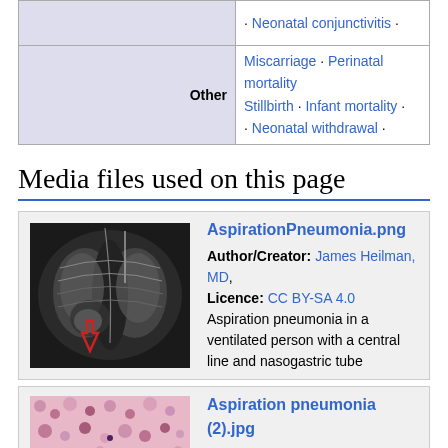|  | Other | Links |
| --- | --- | --- |
|  |  | · Neonatal conjunctivitis · |
|  | Other | Miscarriage · Perinatal mortality
Stillbirth · Infant mortality ·
· Neonatal withdrawal · |
Media files used on this page
AspirationPneumonia.png
Author/Creator: James Heilman, MD, Licence: CC BY-SA 4.0
Aspiration pneumonia in a ventilated person with a central line and nasogastric tube
Aspiration pneumonia (2).jpg
Author/Creator: unknown, Licence: CC-BY-SA-3.0